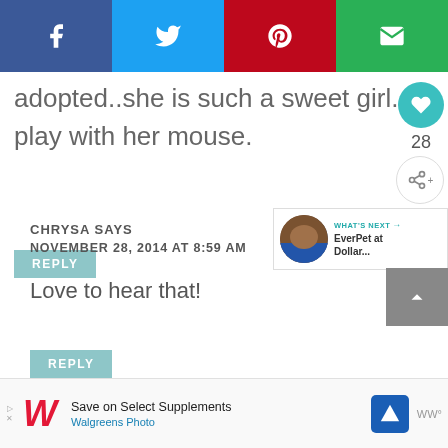[Figure (other): Social sharing bar with Facebook (dark blue), Twitter (light blue), Pinterest (red), and Email (green) buttons]
adopted..she is such a sweet girl. the dog loves watching her play with her mouse.
REPLY
CHRYSA SAYS
NOVEMBER 28, 2014 AT 8:59 AM
Love to hear that!
REPLY
[Figure (other): What's Next panel with thumbnail image and text: EverPet at Dollar...]
[Figure (other): Advertisement: Save on Select Supplements - Walgreens Photo]